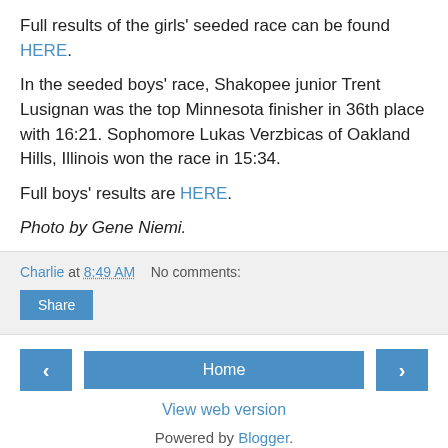Full results of the girls' seeded race can be found HERE.
In the seeded boys' race, Shakopee junior Trent Lusignan was the top Minnesota finisher in 36th place with 16:21. Sophomore Lukas Verzbicas of Oakland Hills, Illinois won the race in 15:34.
Full boys' results are HERE.
Photo by Gene Niemi.
Charlie at 8:49 AM   No comments:
Share
Home | View web version | Powered by Blogger.